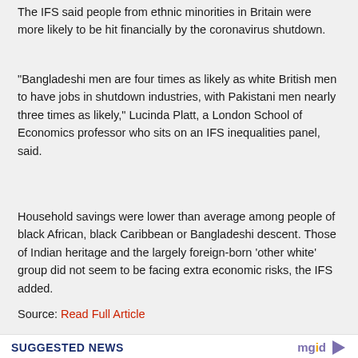The IFS said people from ethnic minorities in Britain were more likely to be hit financially by the coronavirus shutdown.
“Bangladeshi men are four times as likely as white British men to have jobs in shutdown industries, with Pakistani men nearly three times as likely,” Lucinda Platt, a London School of Economics professor who sits on an IFS inequalities panel, said.
Household savings were lower than average among people of black African, black Caribbean or Bangladeshi descent. Those of Indian heritage and the largely foreign-born ‘other white’ group did not seem to be facing extra economic risks, the IFS added.
Source: Read Full Article
SUGGESTED NEWS